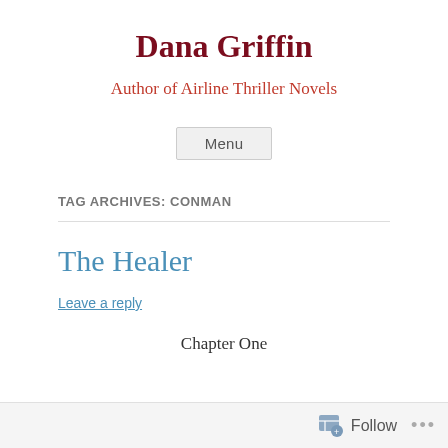Dana Griffin
Author of Airline Thriller Novels
Menu
TAG ARCHIVES: CONMAN
The Healer
Leave a reply
Chapter One
Follow